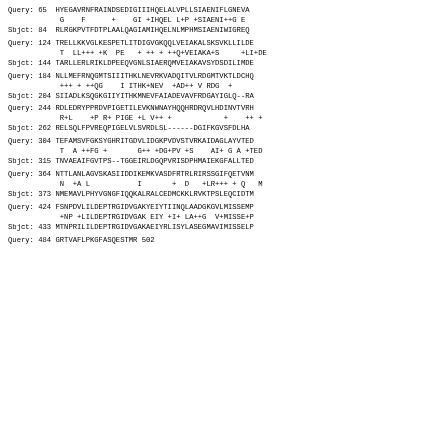Query: 65  HYEGAVRNFRAINDSEDIGIIIHQELALVPLLSIAENIFLGNEVA
            G    F      +    GI +IHQEL L+P +SIAENI++G E
Sbjct: 84  RLRGKPVTFDTPLAALQAGIAMIHQELNLMPHMSIAENIWIGREQ
Query: 124 TRELLKKVGLKESPETLITDIGVGKQQLVEIAKALSKSVKLLILDB
            T  LL+++ +K  PE   + ++ + ++Q+VEIAKA+S     +LI+DB
Sbjct: 144 TARLLERLRIKLDPEEQVGNLSIAERQMVEIAKAVSYDSDILIMDB
Query: 184 NLLMEFRNQGMTSIIITHKLNEVRKVADQITVLRDGMTVKTLDCHQ
            +++ + ++QG    I ITHK+NEV  +AD++ V RDG  +
Sbjct: 204 SIIADLKSQGKGIIYITHKMNEVFAIADEVAVFRDGAYIGLQ--RA
Query: 244 RDLEDRYPPRDVPIGETILEVKNWNAYHQQHRDRQVLHDINVTVRH
            R+L    +P R+ PIGE +L V++ +            +    ++ +
Sbjct: 262 RELSQLFPVREQPIGELVLSVRDLSL------DGIFKGVSFDLHA
Query: 304 TEFAMSVFGKSYGHRITGDVLIDGKPVDVSTVRKAIDAGLAYVTED
            T  A ++FG +       G++ +DG+PV +S    AI+ G A +TED
Sbjct: 315 TNVAEAIFGVTPS--TGGEIRLDGQPVRISDPHMAIEKGFALLTED
Query: 364 NTTLANLAGVSKASIIDDIKEMKVASDFRTRLRIRSSGIFQETVNM
            N  +A L           I       +  D   +LR+++ + Q   M
Sbjct: 373 NMEMAVLPHYVGNGFIQQKALRALCEDMCKKLRVKTPSLEQCIDTM
Query: 424 FSNPDVLILDEPTRGIDVGAKYEIYTIINQLAADGKGVLMISSEMP
            +NP +LILDEPTRGIDVGAK EIY +I+ LA++G  V+MISSE+P
Sbjct: 433 MTNPRILILDEPTRGIDVGAKAEIYRLISYLASEGMAVIMISSELP
Query: 484 GRTVAFLPKGFASQESTMR 502